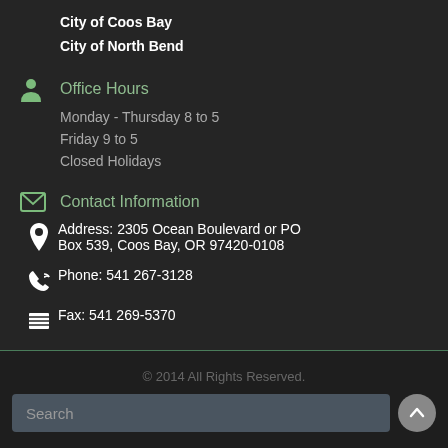City of Coos Bay
City of North Bend
Office Hours
Monday - Thursday 8 to 5
Friday 9 to 5
Closed Holidays
Contact Information
Address: 2305 Ocean Boulevard or PO Box 539, Coos Bay, OR 97420-0108
Phone: 541 267-3128
Fax: 541 269-5370
© 2014 All Rights Reserved.